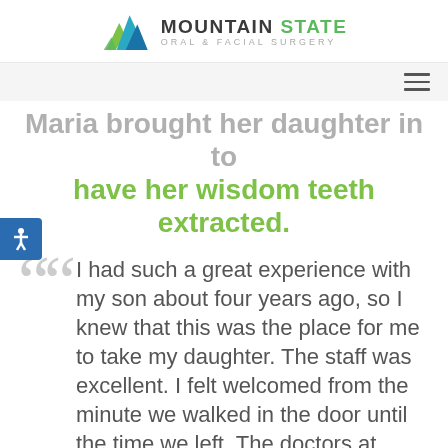[Figure (logo): Mountain State Oral & Facial Surgery logo with mountain peaks icon in blue and green, company name in dark and green text]
Maria brought her daughter in to have her wisdom teeth extracted.
I had such a great experience with my son about four years ago, so I knew that this was the place for me to take my daughter. The staff was excellent. I felt welcomed from the minute we walked in the door until the time we left. The doctors at Mountain State Oral were really thorough. They explained to me the procedure that was going to take place with my daughter and how he would go about extracting the teeth. I knew that she was in good hands. Coming to Mountain State Oral was one of the best